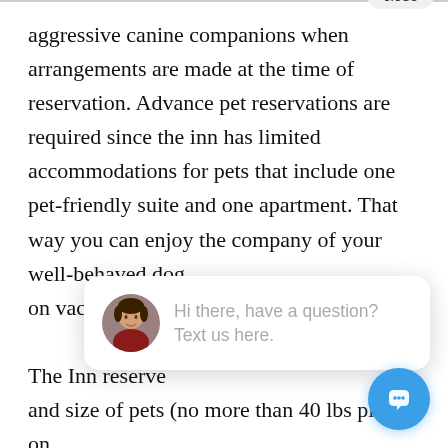aggressive canine companions when arrangements are made at the time of reservation. Advance pet reservations are required since the inn has limited accommodations for pets that include one pet-friendly suite and one apartment. That way you can enjoy the company of your well-behaved dog on vacation her
[Figure (screenshot): Chat popup overlay with avatar of a woman, text 'Hi there, have a question? Text us here.' and a close button. A blue chat button appears in the bottom right corner.]
The Inn reserve and size of pets (no more than 40 lbs please) on case-by-case basis. All pet guests (and humans t we're being honest) must be completely free o and ticks, well-groomed, and up-to-date on shots